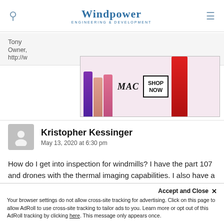Windpower ENGINEERING & DEVELOPMENT
Tony
Owner, ...
http://w...
[Figure (photo): MAC Cosmetics advertisement banner showing lipsticks in purple, peach, pink, and red colors with MAC logo and SHOP NOW button]
Kristopher Kessinger
May 13, 2020 at 6:30 pm
How do I get into inspection for windmills? I have the part 107 and drones with the thermal imaging capabilities. I also have a 20mp camera that is 4K. Thanks for any information you can offer.
Thanks,
Accept and Close ×
Your browser settings do not allow cross-site tracking for advertising. Click on this page to allow AdRoll to use cross-site tracking to tailor ads to you. Learn more or opt out of this AdRoll tracking by clicking here. This message only appears once.